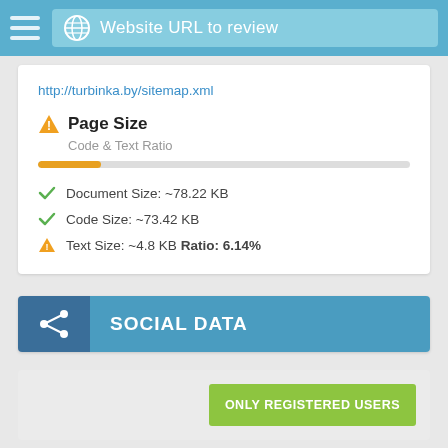Website URL to review
http://turbinka.by/sitemap.xml
Page Size
Code & Text Ratio
Document Size: ~78.22 KB
Code Size: ~73.42 KB
Text Size: ~4.8 KB Ratio: 6.14%
SOCIAL DATA
ONLY REGISTERED USERS